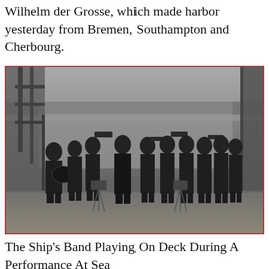Wilhelm der Grosse, which made harbor yesterday from Bremen, Southampton and Cherbourg.
[Figure (photo): Black and white photograph of a ship's band playing on deck, with musicians in dark uniforms holding brass instruments and drums, standing under a covered deck structure with scaffolding visible on the left and a large pillar on the right.]
The Ship's Band Playing On Deck During A Performance At Sea